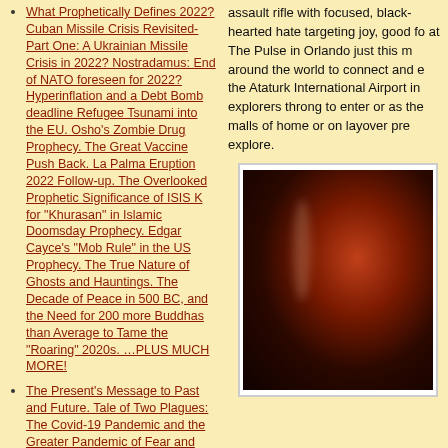What Prophetically Defines 2022? Cuban Missile Crisis Revisited-Part One: A Ukrainian Missile Crisis in 2022? Nostradamus: End of NATO foreseen for 2022? Hyperinflation and a Debt Bomb deadline Refugee Tsunami into the EU. Osho's Zombie Drug Prophecy. The Great Vaccine Push Back. La Palma Eruption 2022 Follow-up. The Overlooked Prophetic Significance of ISIS K for "Khurasan" in Islamic Doomsday Prophecy. Edgar Cayce's "Mob Rule" in the US Prophecy. The True Nature of Ghosts and Hauntings. The Decade of Peace in 500 BC, and the Need for 200 more Buddhas than Average to Tame the "Roaring" 2020s. ...PLUS MUCH MORE!
The Present's Message to Past and Future. Tale of Two Plagues: The Covid-19 Pandemic and the Greater Pandemic of Fear and Hysteria—Noah's Ark of Consciousness is the Antidote. Wrath of Hurricane Ida, a Global Warming Pearl Harbor Wake Up Call. The
assault rifle with focused, black-hearted hate targeting joy, good fo... at The Pulse in Orlando just this m... around the world to connect and e... the Ataturk International Airport in... explorers throng to enter or as the... malls of home or on layover pre... explore.
[Figure (photo): Dark, blurry photo with reddish-orange glow on the right side, likely a low-light or fire scene]